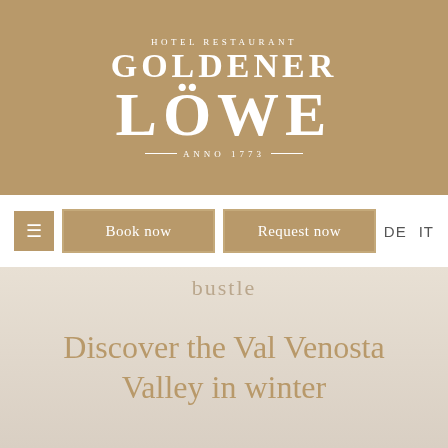[Figure (logo): Hotel Restaurant Goldener Löwe Anno 1773 logo — white text on gold/tan background]
☰ (menu icon)
Book now
Request now
DE  IT
bustle
Discover the Val Venosta Valley in winter
We use cookies to give you the best possible service. Please be aware that, in case of deactivation, full enjoyment of the site may not be guaranteed.  OK  Details